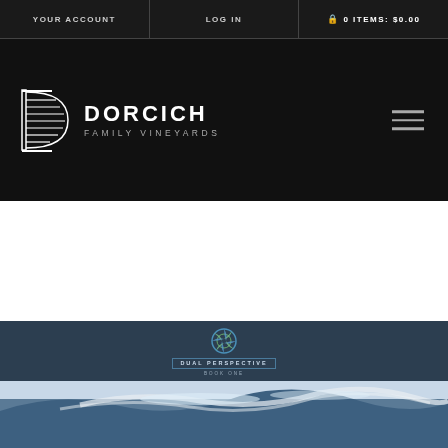YOUR ACCOUNT | LOG IN | 0 ITEMS: $0.00
[Figure (logo): Dorcich Family Vineyards logo with stylized D letterform in white on dark background]
[Figure (logo): Dual Perspective Book One logo — circular aperture/lens design in blue and green with bordered badge text]
[Figure (photo): Ocean wave photograph — large rolling wave with white foam crest, blue-grey water, dramatic seascape]